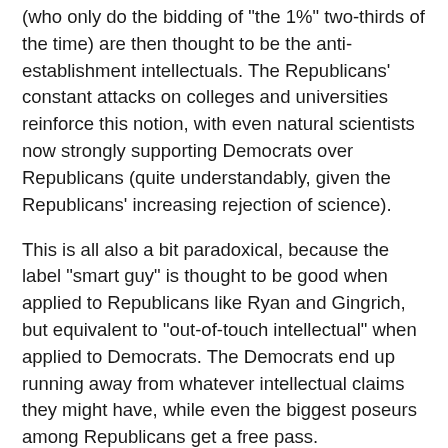(who only do the bidding of "the 1%" two-thirds of the time) are then thought to be the anti-establishment intellectuals. The Republicans' constant attacks on colleges and universities reinforce this notion, with even natural scientists now strongly supporting Democrats over Republicans (quite understandably, given the Republicans' increasing rejection of science).
This is all also a bit paradoxical, because the label "smart guy" is thought to be good when applied to Republicans like Ryan and Gingrich, but equivalent to "out-of-touch intellectual" when applied to Democrats. The Democrats end up running away from whatever intellectual claims they might have, while even the biggest poseurs among Republicans get a free pass.
One final point. In my column, I wrote that "Mr. Ryan is turning out to be an unprincipled politician who is willing to shade his positions opportunistically." I considered providing links to articles demonstrating the all-too-obvious truth of that statement, but I decided that there were just too many examples from which to choose. (His speech at the Republican convention last night, of course, removed all